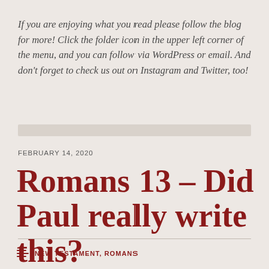If you are enjoying what you read please follow the blog for more!  Click the folder icon in the upper left corner of the menu, and you can follow via WordPress or email.  And don't forget to check us out on Instagram and Twitter, too!
FEBRUARY 14, 2020
Romans 13 – Did Paul really write this?
NEW TESTAMENT, ROMANS